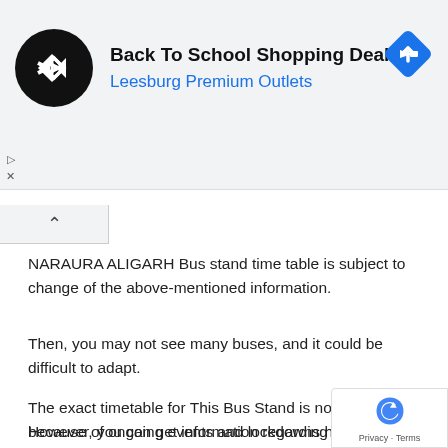[Figure (screenshot): Ad banner for Back To School Shopping Deals at Leesburg Premium Outlets, showing a circular logo with double arrows, bold title text, blue subtitle, and a blue diamond navigation arrow icon on the right.]
NARAURA ALIGARH Bus stand time table is subject to change of the above-mentioned information.
Then, you may not see many buses, and it could be difficult to adapt.
The exact timetable for This Bus Stand is not accessible because of ongoing events and lockdowns happening at a faster speeds. At present, it is a fluid environment and the authorities do not wish to manage all buses. Certain buses are being canceled in order to cut down on unnecessary travel. The the schedule is constantly changing.
However, you can get information regarding specific